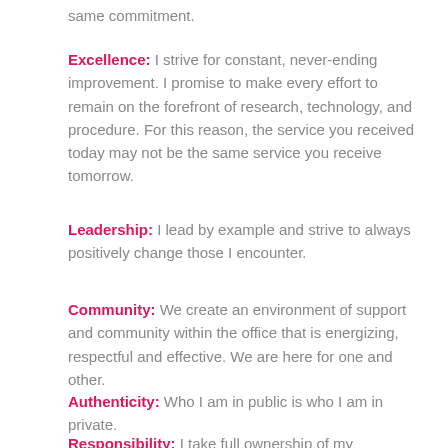same commitment.
Excellence: I strive for constant, never-ending improvement. I promise to make every effort to remain on the forefront of research, technology, and procedure. For this reason, the service you received today may not be the same service you receive tomorrow.
Leadership: I lead by example and strive to always positively change those I encounter.
Community: We create an environment of support and community within the office that is energizing, respectful and effective. We are here for one and other.
Authenticity: Who I am in public is who I am in private.
Responsibility: I take full ownership of my successes and failures. This is my life and I am in control of it. We encourage